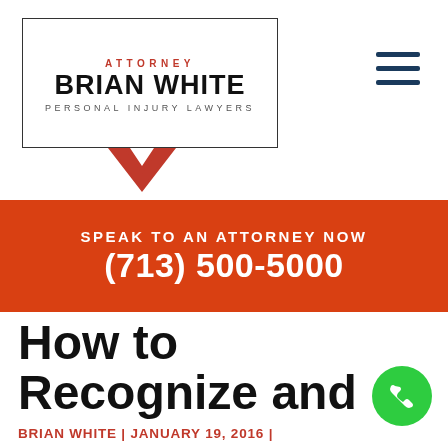ATTORNEY BRIAN WHITE PERSONAL INJURY LAWYERS
SPEAK TO AN ATTORNEY NOW
(713) 500-5000
How to Recognize and Report Police Misconduct in Houston
BRIAN WHITE | JANUARY 19, 2016 |